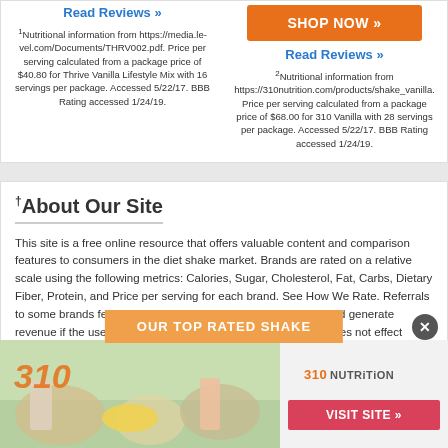Read Reviews »
1 Nutritional information from https://media.le-vel.com/Documents/THRV002.pdf. Price per serving calculated from a package price of $40.80 for Thrive Vanilla Lifestyle Mix with 16 servings per package. Accessed 5/22/17. BBB Rating accessed 1/24/19.
SHOP NOW »
Read Reviews »
2 Nutritional information from https://310nutrition.com/products/shake_vanilla. Price per serving calculated from a package price of $68.00 for 310 Vanilla with 28 servings per package. Accessed 5/22/17. BBB Rating accessed 1/24/19.
†About Our Site
This site is a free online resource that offers valuable content and comparison features to consumers in the diet shake market. Brands are rated on a relative scale using the following metrics: Calories, Sugar, Cholesterol, Fat, Carbs, Dietary Fiber, Protein, and Price per serving for each brand. See How We Rate. Referrals to some brands featured on MealReplacementShakes.com could generate revenue if the user purchases a product, yet referral revenue does not effect ratings nor rankings.
All product reviews are submitted by real people, unfiltered by MealReplacementShakes.com. Any moderation of reviews submitted on this site is to filter for profanity, abuse, or false information. All product comparison points su[…]erving, price, and
OUR TOP RATED SHAKE
[Figure (photo): 310 Nutrition advertisement banner showing shakes and food products with 310 logo and Visit Site button]